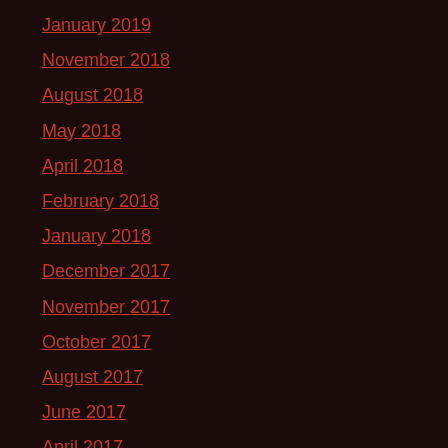January 2019
November 2018
August 2018
May 2018
April 2018
February 2018
January 2018
December 2017
November 2017
October 2017
August 2017
June 2017
April 2017
March 2017
December 2016